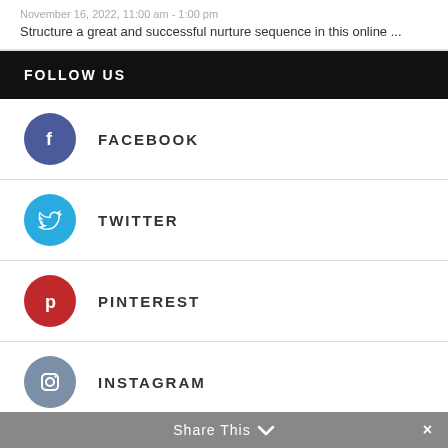November 16, 2022, 11:00 am - 1:00 pm
Structure a great and successful nurture sequence in this online ...
FOLLOW US
FACEBOOK
TWITTER
PINTEREST
INSTAGRAM
Share This  ×